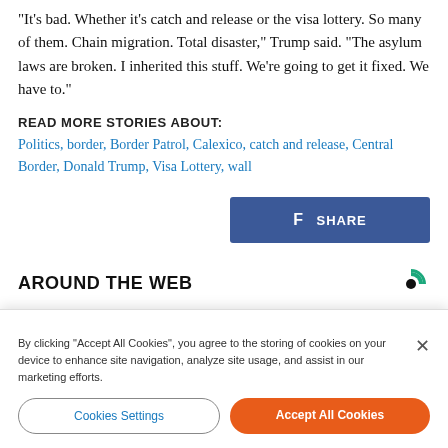“It’s bad. Whether it’s catch and release or the visa lottery. So many of them. Chain migration. Total disaster,” Trump said. “The asylum laws are broken. I inherited this stuff. We’re going to get it fixed. We have to.”
READ MORE STORIES ABOUT:
Politics, border, Border Patrol, Calexico, catch and release, Central Border, Donald Trump, Visa Lottery, wall
[Figure (other): Facebook Share button with blue background and f icon]
AROUND THE WEB
[Figure (other): Colorful image strip teaser for Around the Web section]
By clicking “Accept All Cookies”, you agree to the storing of cookies on your device to enhance site navigation, analyze site usage, and assist in our marketing efforts.
Cookies Settings
Accept All Cookies